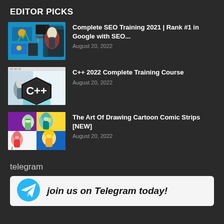EDITOR PICKS
Complete SEO Training 2021 | Rank #1 in Google with SEO...
August 20, 2022
C++ 2022 Complete Training Course
August 20, 2022
The Art Of Drawing Cartoon Comic Strips [NEW]
August 20, 2022
telegram
[Figure (infographic): Telegram promotional banner with Telegram logo and text 'join us on Telegram today!']